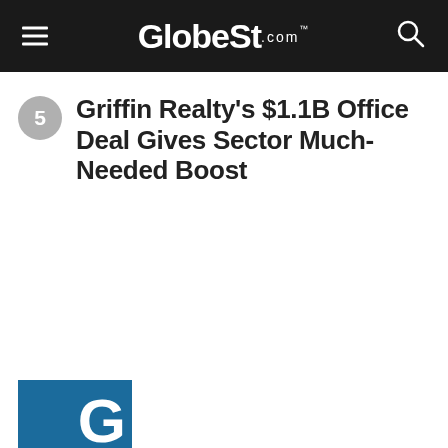GlobeSt.com
Griffin Realty's $1.1B Office Deal Gives Sector Much-Needed Boost
[Figure (logo): GlobeSt.com logo partial at bottom left corner, blue background with white G letter]